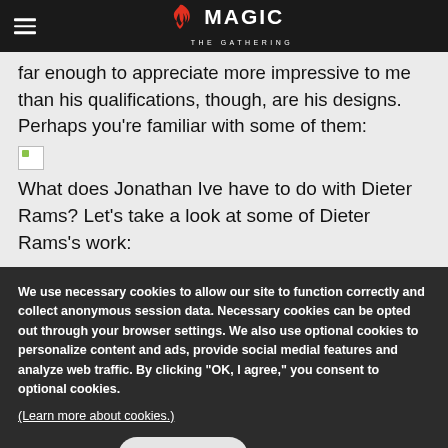MAGIC THE GATHERING
far enough to appreciate more impressive to me than his qualifications, though, are his designs. Perhaps you're familiar with some of them:
[Figure (illustration): Broken image placeholder icon]
What does Jonathan Ive have to do with Dieter Rams? Let's take a look at some of Dieter Rams's work:
We use necessary cookies to allow our site to function correctly and collect anonymous session data. Necessary cookies can be opted out through your browser settings. We also use optional cookies to personalize content and ads, provide social medial features and analyze web traffic. By clicking “OK, I agree,” you consent to optional cookies. (Learn more about cookies.)